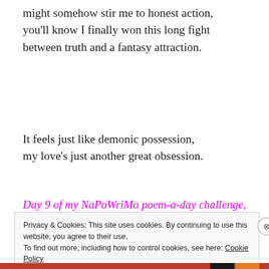might somehow stir me to honest action,
you'll know I finally won this long fight
between truth and a fantasy attraction.
It feels just like demonic possession,
my love's just another great obsession.
Day 9 of my NaPoWriMo poem-a-day challenge, a two-fer. When
Privacy & Cookies: This site uses cookies. By continuing to use this website, you agree to their use.
To find out more, including how to control cookies, see here: Cookie Policy